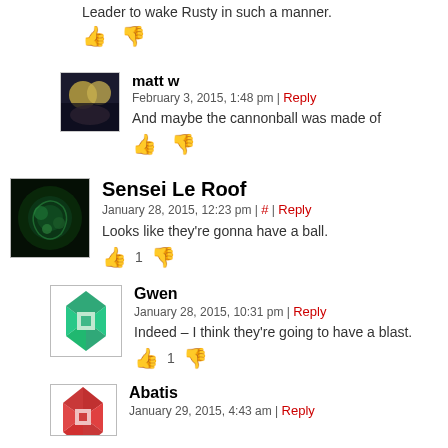Leader to wake Rusty in such a manner.
[Figure (illustration): Thumbs up and thumbs down icons (orange) for voting]
[Figure (photo): Avatar for matt w - dark photo]
matt w
February 3, 2015, 1:48 pm | Reply
And maybe the cannonball was made of
[Figure (illustration): Thumbs up and thumbs down icons (orange) for voting]
[Figure (photo): Avatar for Sensei Le Roof - dark green swirl image]
Sensei Le Roof
January 28, 2015, 12:23 pm | # | Reply
Looks like they're gonna have a ball.
[Figure (illustration): Thumbs up (1) and thumbs down icons (orange) for voting]
[Figure (illustration): Avatar for Gwen - geometric quilt pattern green/teal]
Gwen
January 28, 2015, 10:31 pm | Reply
Indeed – I think they're going to have a blast.
[Figure (illustration): Thumbs up (1) and thumbs down icons (orange) for voting]
[Figure (illustration): Avatar for Abatis - geometric quilt pattern red/white]
Abatis
January 29, 2015, 4:43 am | Reply